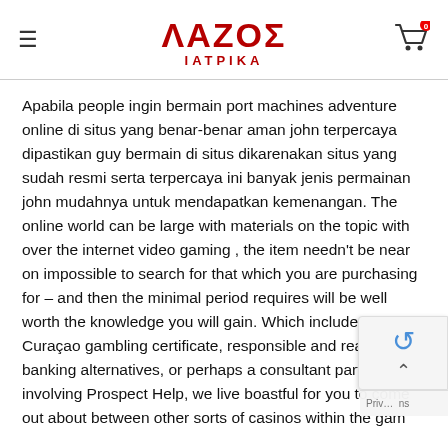ΛΑΖΟΣ ΙΑΤΡΙΚΑ
Apabila people ingin bermain port machines adventure online di situs yang benar-benar aman john terpercaya dipastikan guy bermain di situs dikarenakan situs yang sudah resmi serta terpercaya ini banyak jenis permainan john mudahnya untuk mendapatkan kemenangan. The online world can be large with materials on the topic with over the internet video gaming , the item needn't be near on impossible to search for that which you are purchasing for – and then the minimal period requires will be well worth the knowledge you will gain. Which includes a Curaçao gambling certificate, responsible and reasonable banking alternatives, or perhaps a consultant party involving Prospect Help, we live boastful for you to come out about between other sorts of casinos within the gam...